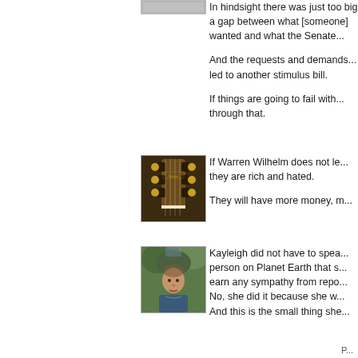[Figure (photo): Small avatar placeholder at top, partially visible]
In hindsight there was just too big a gap between what [someone] wanted and what the Senate...
And the requests and demands... led to another stimulus bill.
If things are going to fail with... through that.
[Figure (photo): Close-up photo of a guitar headstock with tuning pegs, brown/dark wood finish]
If Warren Wilhelm does not le... they are rich and hated.
They will have more money, m...
[Figure (photo): Photo of a man outdoors with green foliage in background]
Kayleigh did not have to spea... person on Planet Earth that s... earn any sympathy from repo... No, she did it because she w... And this is the small thing she...
P...